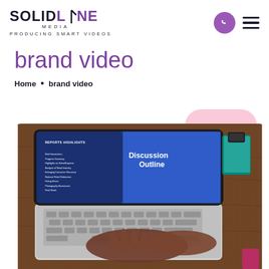SOLIDLINE MEDIA · PRODUCING SMART VIDEOS
brand video
Home • brand video
[Figure (photo): Person typing on a laptop with a blue presentation slide showing 'Discussion Outline' on the screen, placed on a wooden desk with books and a phone nearby. A pink rounded rectangle decoration is in the upper right corner.]